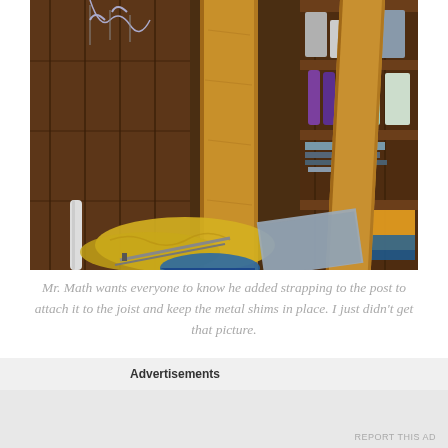[Figure (photo): Interior photo of a cluttered workshop/storage area showing wooden posts/beams, insulation material on the floor, tools, pipes, and shelves with paint cans and supplies in the background.]
Mr. Math wants everyone to know he added strapping to the post to attach it to the joist and keep the metal shims in place. I just didn't get that picture.
We also touched up paint on the exterior. I am so grossed out every time we switch tenants with the front door that I
Advertisements